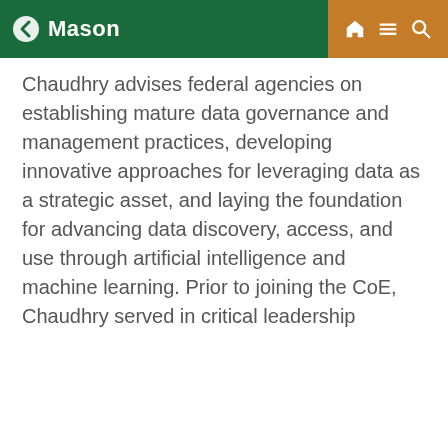Mason
Chaudhry advises federal agencies on establishing mature data governance and management practices, developing innovative approaches for leveraging data as a strategic asset, and laying the foundation for advancing data discovery, access, and use through artificial intelligence and machine learning. Prior to joining the CoE, Chaudhry served in critical leadership
Mason Cookie Policy
We use cookies and similar technologies to improve your website experience and help us understand how you use our website. By continuing to use this website, you consent to the usage of cookies. Learn more about our Cookie Policy
Cookie Preferences
Accept Cookies